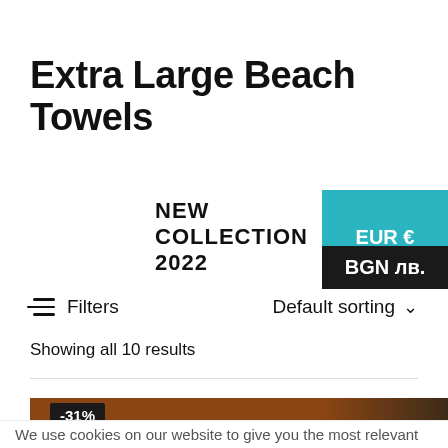Extra Large Beach Towels
NEW COLLECTION 2022
EUR €
BGN лв.
Filters
Default sorting
Showing all 10 results
[Figure (photo): Product image of a beach towel with -31% discount badge]
We use cookies on our website to give you the most relevant